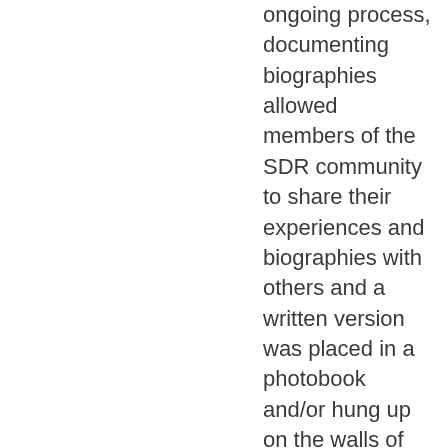ongoing process, documenting biographies allowed members of the SDR community to share their experiences and biographies with others and a written version was placed in a photobook and/or hung up on the walls of SDR (see Scene III: Stories for a